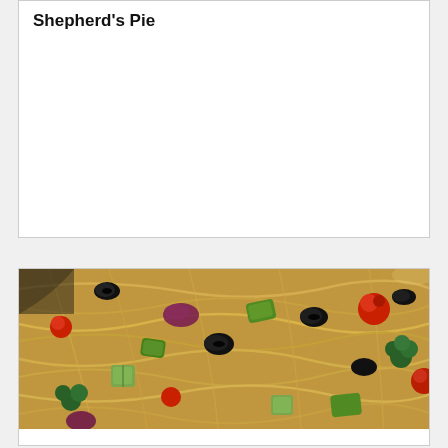Shepherd's Pie
[Figure (photo): Close-up photo of california spaghetti salad with noodles, black olives, cherry tomatoes, green peppers, broccoli, red onion, and zucchini]
california spaghetti salad